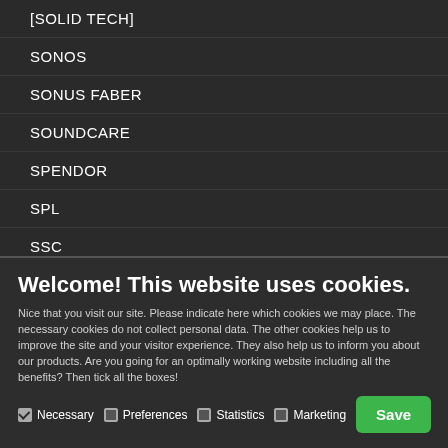[SOLID TECH]
SONOS
SONUS FABER
SOUNDCARE
SPENDOR
SPL
SSC
Welcome! This website uses cookies.
Nice that you visit our site. Please indicate here which cookies we may place. The necessary cookies do not collect personal data. The other cookies help us to improve the site and your visitor experience. They also help us to inform you about our products. Are you going for an optimally working website including all the benefits? Then tick all the boxes!
Necessary  Preferences  Statistics  Marketing  Save